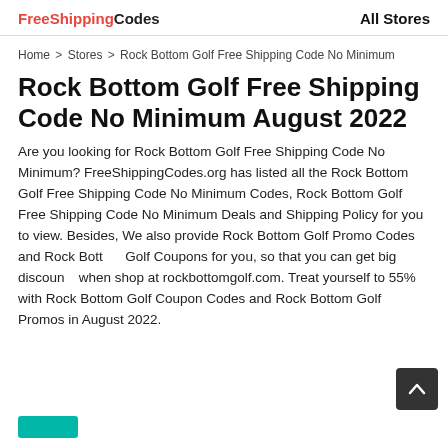FreeShippingCodes   All Stores
Home > Stores > Rock Bottom Golf Free Shipping Code No Minimum
Rock Bottom Golf Free Shipping Code No Minimum August 2022
Are you looking for Rock Bottom Golf Free Shipping Code No Minimum? FreeShippingCodes.org has listed all the Rock Bottom Golf Free Shipping Code No Minimum Codes, Rock Bottom Golf Free Shipping Code No Minimum Deals and Shipping Policy for you to view. Besides, We also provide Rock Bottom Golf Promo Codes and Rock Bottom Golf Coupons for you, so that you can get big discounts when shop at rockbottomgolf.com. Treat yourself to 55% with Rock Bottom Golf Coupon Codes and Rock Bottom Golf Promos in August 2022.